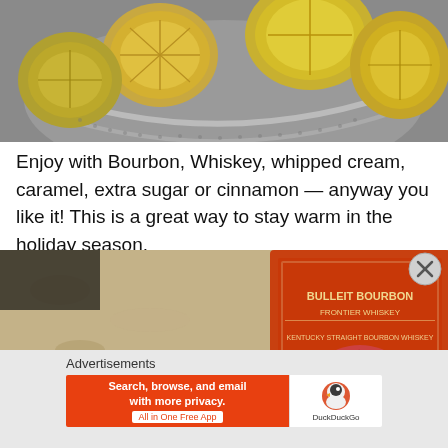[Figure (photo): Overhead view of sliced citrus fruits (lemons/oranges) in a metal colander/strainer]
Enjoy with Bourbon, Whiskey, whipped cream, caramel, extra sugar or cinnamon — anyway you like it! This is a great way to stay warm in the holiday season.
[Figure (photo): Close-up of a Bulleit Bourbon Frontier Whiskey bottle on a granite counter with a white dish and a red apple visible]
Advertisements
[Figure (screenshot): DuckDuckGo advertisement banner: 'Search, browse, and email with more privacy. All in One Free App' with DuckDuckGo logo on the right]